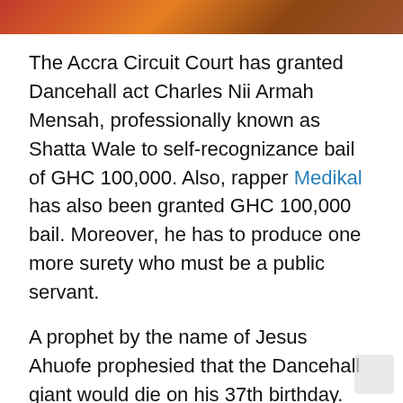[Figure (photo): Partial image strip at top of page showing reddish-brown tones, appears to be a cropped photo]
The Accra Circuit Court has granted Dancehall act Charles Nii Armah Mensah, professionally known as Shatta Wale to self-recognizance bail of GHC 100,000. Also, rapper Medikal has also been granted GHC 100,000 bail. Moreover, he has to produce one more surety who must be a public servant.
A prophet by the name of Jesus Ahuofe prophesied that the Dancehall giant would die on his 37th birthday. Thus, on October 17, 2021. Tossing the doom prophecy into a win, Shatta Wale with his team devised a stunt for clout by faking a shootout and death. For causing fear and panic, the Ghana Police Service arrested him for arrest. The receiving